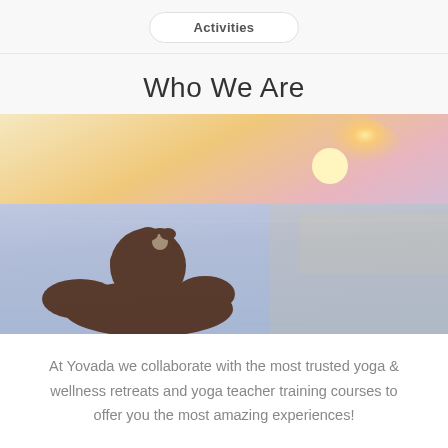Activities
Who We Are
[Figure (photo): Person sitting in lotus meditation pose silhouetted against a calm ocean with a warm sunset in the background, soft golden and purple tones]
At Yovada we collaborate with the most trusted yoga & wellness retreats and yoga teacher training courses to offer you the most amazing experiences!